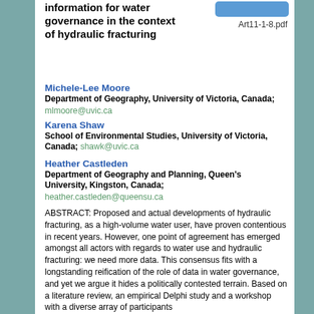information for water governance in the context of hydraulic fracturing
Art11-1-8.pdf
Michele-Lee Moore
Department of Geography, University of Victoria, Canada;
mlmoore@uvic.ca
Karena Shaw
School of Environmental Studies, University of Victoria, Canada; shawk@uvic.ca
Heather Castleden
Department of Geography and Planning, Queen's University, Kingston, Canada;
heather.castleden@queensu.ca
ABSTRACT: Proposed and actual developments of hydraulic fracturing, as a high-volume water user, have proven contentious in recent years. However, one point of agreement has emerged amongst all actors with regards to water use and hydraulic fracturing: we need more data. This consensus fits with a longstanding reification of the role of data in water governance, and yet we argue it hides a politically contested terrain. Based on a literature review, an empirical Delphi study and a workshop with a diverse array of participants